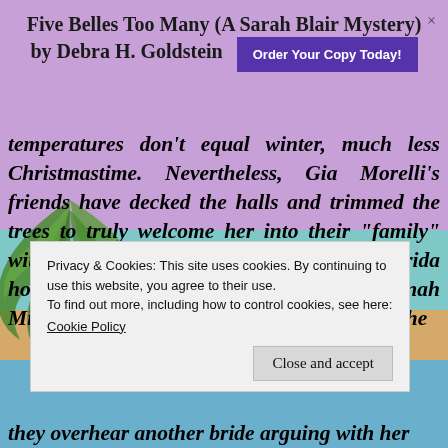Five Belles Too Many (A Sarah Blair Mystery) by Debra H. Goldstein
temperatures don't equal winter, much less Christmastime. Nevertheless, Gia Morelli's friends have decked the halls and trimmed the trees to truly welcome her into their “family” with an old-fashioned Boggy Creek, Florida holiday season. Even more joyous, Savannah Mills is getting married on Christmas Eve—the
Privacy & Cookies: This site uses cookies. By continuing to use this website, you agree to their use.
To find out more, including how to control cookies, see here:
Cookie Policy
they overhear another bride arguing with her